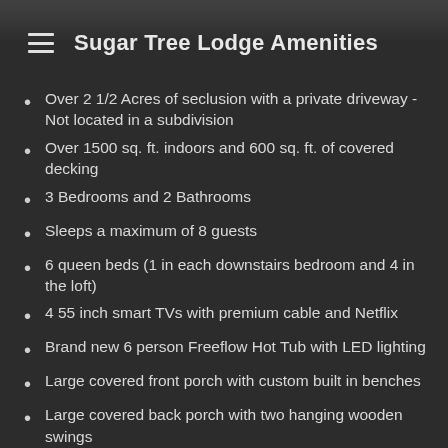Sugar Tree Lodge Amenities
Over 2 1/2 Acres of seclusion with a private driveway - Not located in a subdivision
Over 1500 sq. ft. indoors and 600 sq. ft. of covered decking
3 Bedrooms and 2 Bathrooms
Sleeps a maximum of 8 guests
6 queen beds (1 in each downstairs bedroom and 4 in the loft)
4 55 inch smart TVs with premium cable and Netflix
Brand new 6 person Freeflow Hot Tub with LED lighting
Large covered front porch with custom built in benches
Large covered back porch with two hanging wooden swings